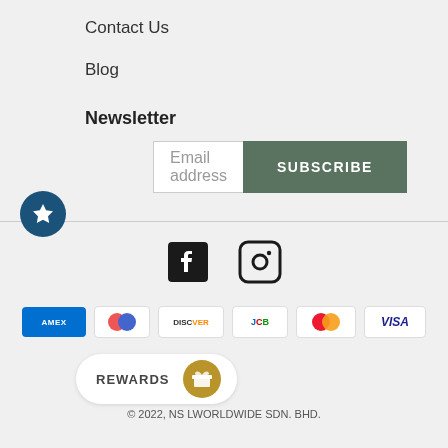Contact Us
Blog
Newsletter
Email address  SUBSCRIBE
[Figure (infographic): Social media icons: Facebook and Instagram]
[Figure (infographic): Payment method icons: American Express, Diners Club, Discover, JCB, Mastercard, Visa]
REWARDS
© 2022, NS LWORLDWIDE SDN. BHD.